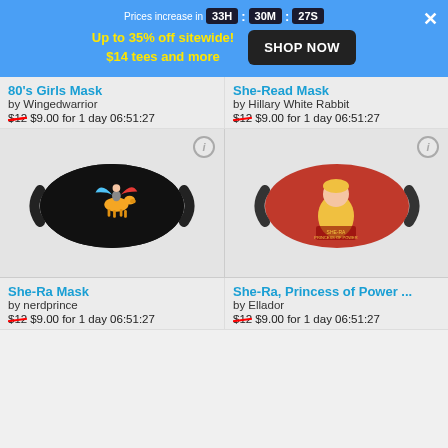Prices increase in 33H : 30M : 27S
Up to 35% off sitewide! $14 tees and more
SHOP NOW
80's Girls Mask
by Wingedwarrior
$12 $9.00 for 1 day 06:51:27
[Figure (photo): Black face mask with colorful winged warrior riding a horse illustration]
She-Read Mask
by Hillary White Rabbit
$12 $9.00 for 1 day 06:51:27
[Figure (photo): Red face mask with She-Ra character illustration]
She-Ra Mask
by nerdprince
$12 $9.00 for 1 day 06:51:27
She-Ra, Princess of Power ...
by Ellador
$12 $9.00 for 1 day 06:51:27